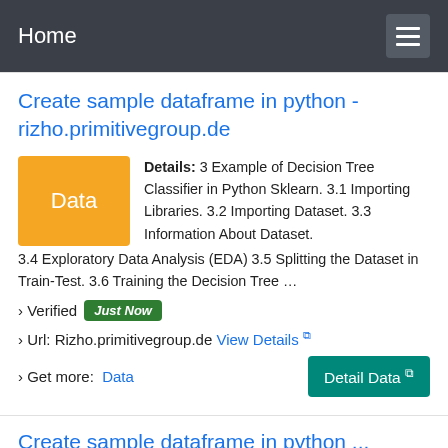Home
Create sample dataframe in python - rizho.primitivegroup.de
Details: 3 Example of Decision Tree Classifier in Python Sklearn. 3.1 Importing Libraries. 3.2 Importing Dataset. 3.3 Information About Dataset. 3.4 Exploratory Data Analysis (EDA) 3.5 Splitting the Dataset in Train-Test. 3.6 Training the Decision Tree …
› Verified  Just Now
› Url: Rizho.primitivegroup.de  View Details
› Get more:  Data    Detail Data
Create sample dataframe in python ...